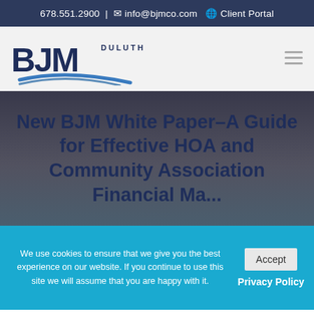678.551.2900 | info@bjmco.com   Client Portal
[Figure (logo): BJM Duluth logo with blue swoosh]
New BJM White Paper–A Guide for Effective HOA and Community Association Financial Ma...
We use cookies to ensure that we give you the best experience on our website. If you continue to use this site we will assume that you are happy with it.